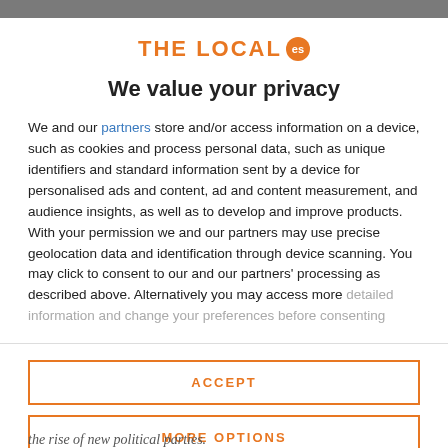[Figure (logo): The Local ES logo — orange uppercase text 'THE LOCAL' with an orange circle badge containing 'es']
We value your privacy
We and our partners store and/or access information on a device, such as cookies and process personal data, such as unique identifiers and standard information sent by a device for personalised ads and content, ad and content measurement, and audience insights, as well as to develop and improve products. With your permission we and our partners may use precise geolocation data and identification through device scanning. You may click to consent to our and our partners' processing as described above. Alternatively you may access more detailed information and change your preferences before consenting
ACCEPT
MORE OPTIONS
the rise of new political parties.